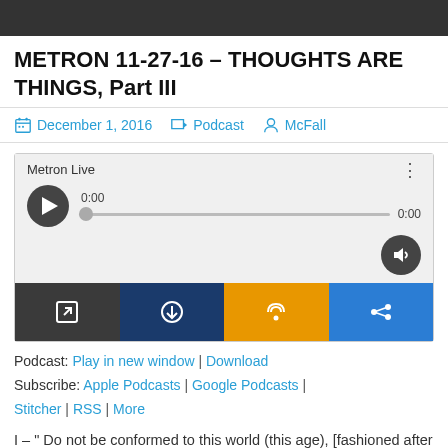[Figure (photo): Dark banner image at top of page, partially cropped person visible]
METRON 11-27-16 – THOUGHTS ARE THINGS, Part III
December 1, 2016  Podcast  McFall
[Figure (screenshot): Audio player widget with play button, progress bar showing 0:00, volume control, and four action buttons: open in new window, download, RSS feed, share]
Podcast: Play in new window | Download
Subscribe: Apple Podcasts | Google Podcasts | Stitcher | RSS | More
I – " Do not be conformed to this world (this age), [fashioned after and adapted to its external, superficial customs], but be transformed (changed)